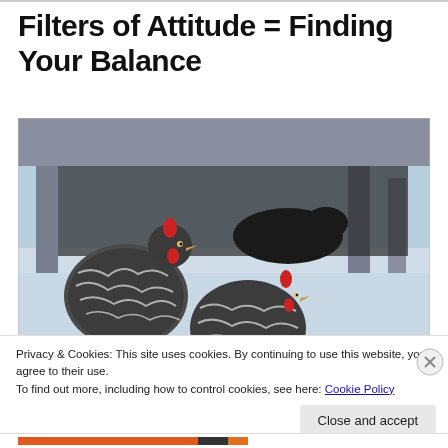Filters of Attitude = Finding Your Balance
[Figure (photo): Two black-and-white barred Plymouth Rock chickens standing in snow beneath a raised wooden structure (coop or deck). A black cat is visible lying in the background under the structure.]
Privacy & Cookies: This site uses cookies. By continuing to use this website, you agree to their use.
To find out more, including how to control cookies, see here: Cookie Policy
Close and accept